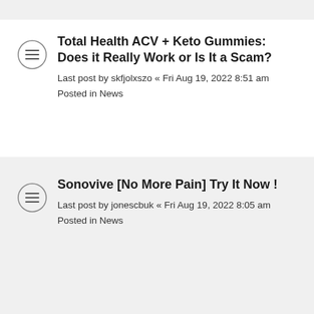Total Health ACV + Keto Gummies: Does it Really Work or Is It a Scam?
Last post by skfjolxszo « Fri Aug 19, 2022 8:51 am
Posted in News
Sonovive [No More Pain] Try It Now !
Last post by jonescbuk « Fri Aug 19, 2022 8:05 am
Posted in News